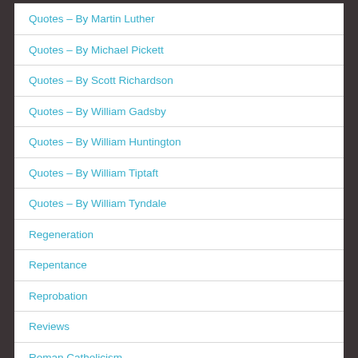Quotes – By Martin Luther
Quotes – By Michael Pickett
Quotes – By Scott Richardson
Quotes – By William Gadsby
Quotes – By William Huntington
Quotes – By William Tiptaft
Quotes – By William Tyndale
Regeneration
Repentance
Reprobation
Reviews
Roman Catholicism